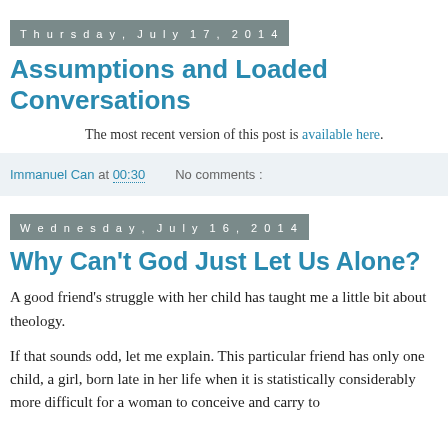Thursday, July 17, 2014
Assumptions and Loaded Conversations
The most recent version of this post is available here.
Immanuel Can at 00:30    No comments :
Wednesday, July 16, 2014
Why Can't God Just Let Us Alone?
A good friend's struggle with her child has taught me a little bit about theology.
If that sounds odd, let me explain. This particular friend has only one child, a girl, born late in her life when it is statistically considerably more difficult for a woman to conceive and carry to